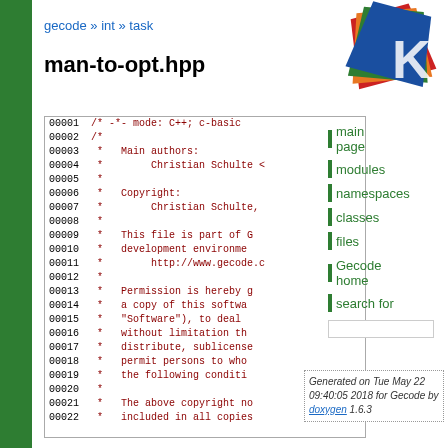gecode » int » task
man-to-opt.hpp
Go to the documentation of this file.
[Figure (screenshot): Source code listing of man-to-opt.hpp showing lines 00001-00022 with C++ comment block including authors, copyright, and license text]
[Figure (logo): Gecode logo with colored card shapes in red, orange, green, blue]
main page
modules
namespaces
classes
files
Gecode home
search for
Generated on Tue May 22 09:40:05 2018 for Gecode by doxygen 1.6.3